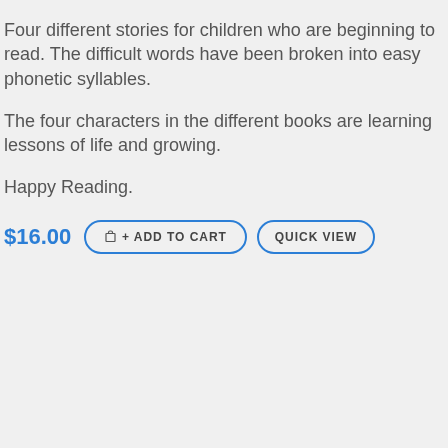Four different stories for children who are beginning to read. The difficult words have been broken into easy phonetic syllables.
The four characters in the different books are learning lessons of life and growing.
Happy Reading.
$16.00  + ADD TO CART  QUICK VIEW